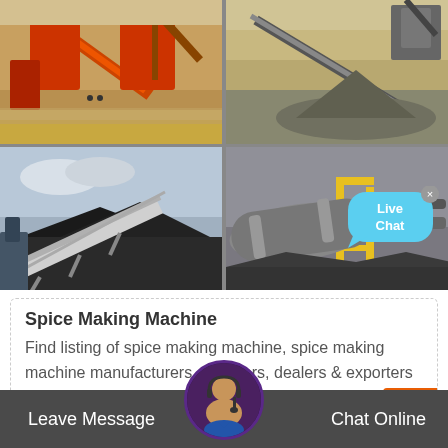[Figure (photo): Grid of 4 industrial/mining machinery photos: top-left shows a mining/quarry processing plant with conveyors and orange machinery; top-right shows a quarry or mining site with conveyors and machinery; bottom-left shows a large conveyor belt system with piled dark material (coal/ore); bottom-right shows an industrial rotary drum or kiln with yellow structure.]
Spice Making Machine
Find listing of spice making machine, spice making machine manufacturers, suppliers, dealers & exporters from India. Get spice making machi... at best price from listed companies as per your buying requirements.